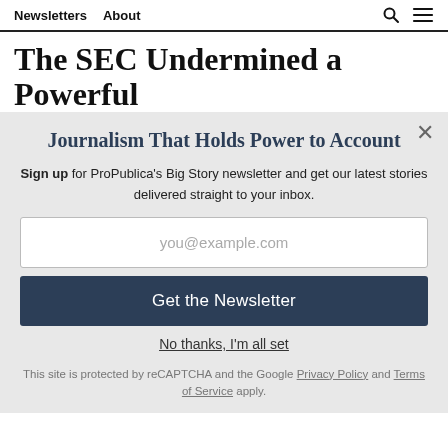Newsletters  About
The SEC Undermined a Powerful
Journalism That Holds Power to Account
Sign up for ProPublica's Big Story newsletter and get our latest stories delivered straight to your inbox.
you@example.com
Get the Newsletter
No thanks, I'm all set
This site is protected by reCAPTCHA and the Google Privacy Policy and Terms of Service apply.